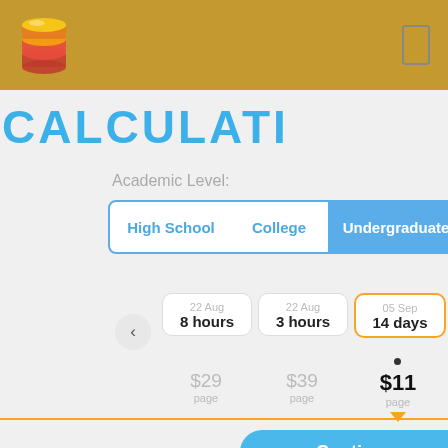[Figure (screenshot): App header bar with gold/tan background, stack-of-coins logo on left, rectangle icon on right]
CALCULATI
Academic Level:
High School
College
Undergraduate
22 Aug
8 hours
$29
page
22 Aug
3 hours
$39
page
05 Sep
14 days
$11
page
01 Sep
10 days
$13
page
Continue